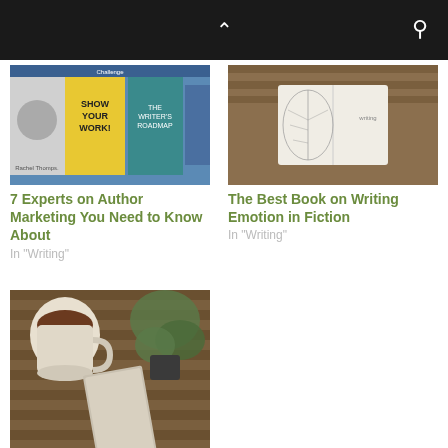navigation bar with chevron and search icon
[Figure (photo): Collage of book covers including Show Your Work, The Writer's Roadmap, and author photos]
7 Experts on Author Marketing You Need to Know About
In "Writing"
[Figure (photo): Photo of an open book with dried leaves on a wooden surface]
The Best Book on Writing Emotion in Fiction
In "Writing"
[Figure (photo): Photo of a coffee cup, book, and plant on a wooden table]
A Lesson From Neil Gaiman in How to Write Emotion
In "Writing"